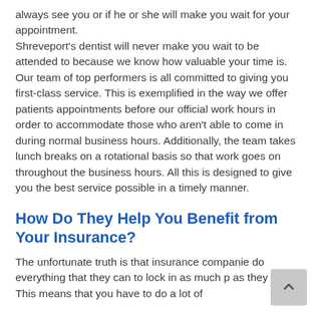always see you or if he or she will make you wait for your appointment. Shreveport's dentist will never make you wait to be attended to because we know how valuable your time is. Our team of top performers is all committed to giving you first-class service. This is exemplified in the way we offer patients appointments before our official work hours in order to accommodate those who aren't able to come in during normal business hours. Additionally, the team takes lunch breaks on a rotational basis so that work goes on throughout the business hours. All this is designed to give you the best service possible in a timely manner.
How Do They Help You Benefit from Your Insurance?
The unfortunate truth is that insurance companie do everything that they can to lock in as much p as they can. This means that you have to do a lot of